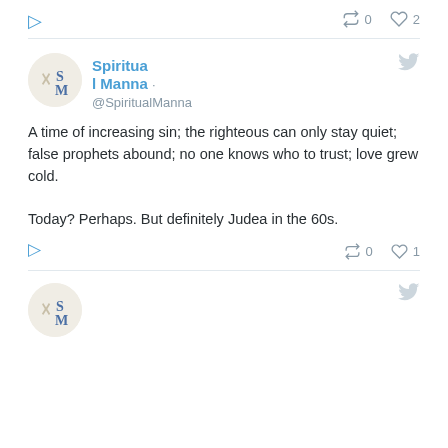[Figure (screenshot): Twitter/social media post interface showing retweet icon with count 0 and heart/like icon with count 2, and a reply icon at bottom left]
[Figure (logo): Spiritual Manna avatar: circular logo with Chi-Rho symbol and letters S and M on beige background]
Spiritual Manna · @SpiritualManna
A time of increasing sin; the righteous can only stay quiet; false prophets abound; no one knows who to trust; love grew cold.

Today? Perhaps. But definitely Judea in the 60s.
[Figure (screenshot): Twitter action bar: retweet count 0, like count 1, reply icon]
[Figure (logo): Spiritual Manna avatar partial: bottom of page showing circular logo]